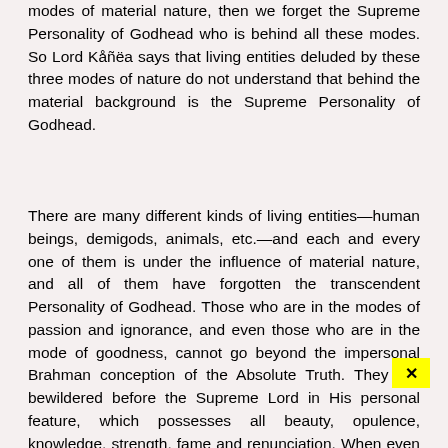modes of material nature, then we forget the Supreme Personality of Godhead who is behind all these modes. So Lord Kåñëa says that living entities deluded by these three modes of nature do not understand that behind the material background is the Supreme Personality of Godhead.
There are many different kinds of living entities—human beings, demigods, animals, etc.—and each and every one of them is under the influence of material nature, and all of them have forgotten the transcendent Personality of Godhead. Those who are in the modes of passion and ignorance, and even those who are in the mode of goodness, cannot go beyond the impersonal Brahman conception of the Absolute Truth. They are bewildered before the Supreme Lord in His personal feature, which possesses all beauty, opulence, knowledge, strength, fame and renunciation. When even those who are